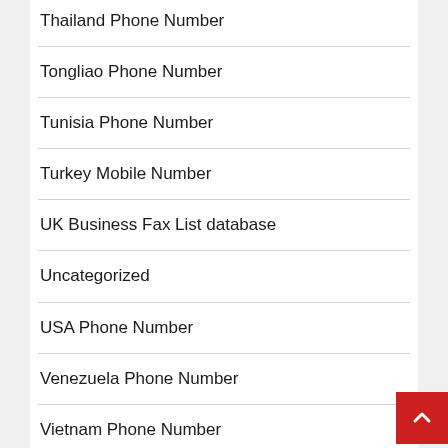Thailand Phone Number
Tongliao Phone Number
Tunisia Phone Number
Turkey Mobile Number
UK Business Fax List database
Uncategorized
USA Phone Number
Venezuela Phone Number
Vietnam Phone Number